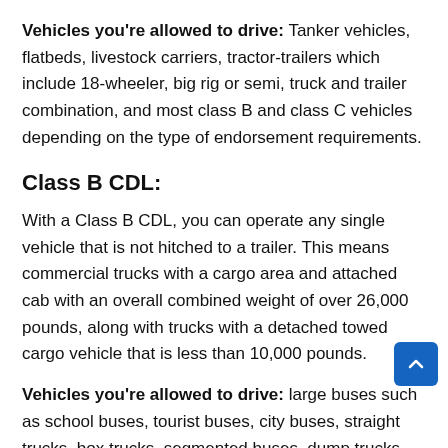Vehicles you're allowed to drive: Tanker vehicles, flatbeds, livestock carriers, tractor-trailers which include 18-wheeler, big rig or semi, truck and trailer combination, and most class B and class C vehicles depending on the type of endorsement requirements.
Class B CDL:
With a Class B CDL, you can operate any single vehicle that is not hitched to a trailer. This means commercial trucks with a cargo area and attached cab with an overall combined weight of over 26,000 pounds, along with trucks with a detached towed cargo vehicle that is less than 10,000 pounds.
Vehicles you're allowed to drive: large buses such as school buses, tourist buses, city buses, straight trucks, box trucks, segmented buses, dump trucks with smaller trailers, and some Class C vehicles assuming the right endorsements.